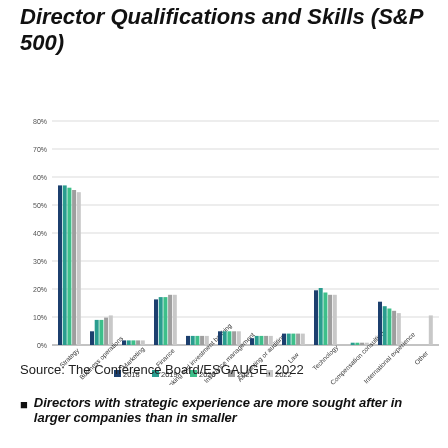Director Qualifications and Skills (S&P 500)
[Figure (grouped-bar-chart): Director Qualifications and Skills (S&P 500)]
Source: The Conference Board/ESGAUGE, 2022
Directors with strategic experience are more sought after in larger companies than in smaller